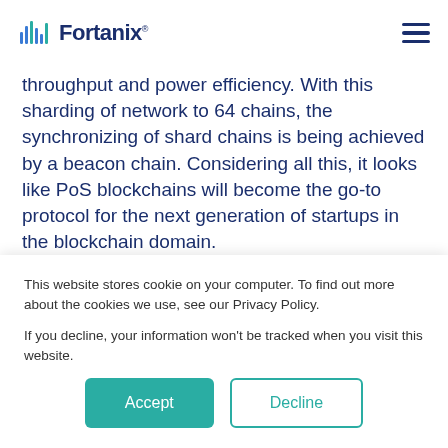Fortanix
throughput and power efficiency. With this sharding of network to 64 chains, the synchronizing of shard chains is being achieved by a beacon chain. Considering all this, it looks like PoS blockchains will become the go-to protocol for the next generation of startups in the blockchain domain.

Cosmos Hub is one such network that is built on the Proof Of Stake (PoS) protocol basis. To elaborate it
This website stores cookie on your computer. To find out more about the cookies we use, see our Privacy Policy.

If you decline, your information won't be tracked when you visit this website.
Accept
Decline